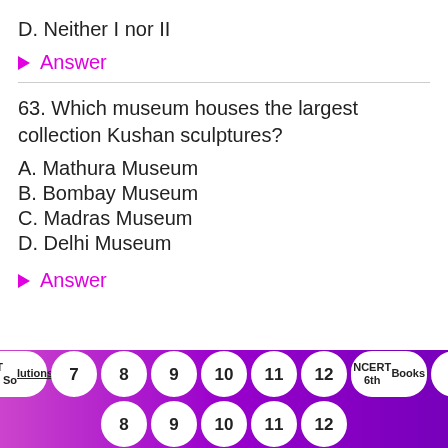D. Neither I nor II
▶ Answer
63. Which museum houses the largest collection Kushan sculptures?
A. Mathura Museum
B. Bombay Museum
C. Madras Museum
D. Delhi Museum
▶ Answer
NCERT 6th Solutions  7  8  9  10  11  12  NCERT 6th Books  7  8  9  10  11  12